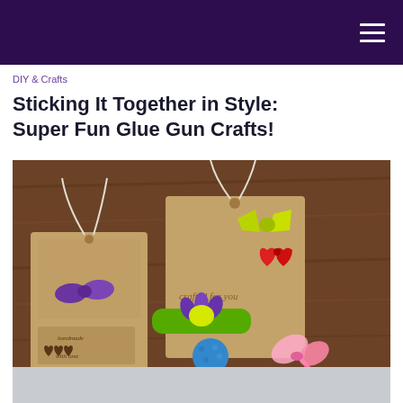DIY & Crafts
Sticking It Together in Style: Super Fun Glue Gun Crafts!
[Figure (photo): Colorful DIY glue gun craft items including small bow-shaped and heart-shaped decorations on kraft paper gift tags that read 'crafted for you' and 'handmade with love', along with hair clips decorated with purple and yellow flower embellishments, a blue glittery lollipop-style decoration on a stick, and a pink butterfly decoration on a pink pencil, all arranged on a wooden surface.]